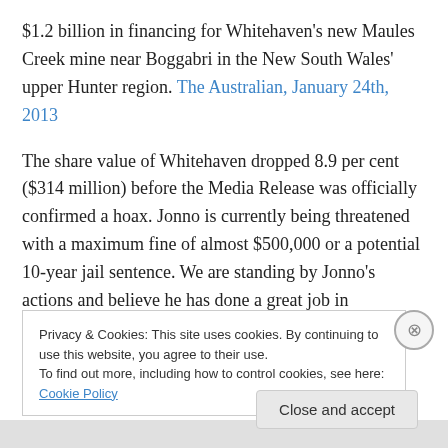$1.2 billion in financing for Whitehaven's new Maules Creek mine near Boggabri in the New South Wales' upper Hunter region. The Australian, January 24th, 2013
The share value of Whitehaven dropped 8.9 per cent ($314 million) before the Media Release was officially confirmed a hoax. Jonno is currently being threatened with a maximum fine of almost $500,000 or a potential 10-year jail sentence. We are standing by Jonno's actions and believe he has done a great job in highlighting the vested interests of the ANZ bank in coal mining projects, as well
Privacy & Cookies: This site uses cookies. By continuing to use this website, you agree to their use.
To find out more, including how to control cookies, see here: Cookie Policy
Close and accept